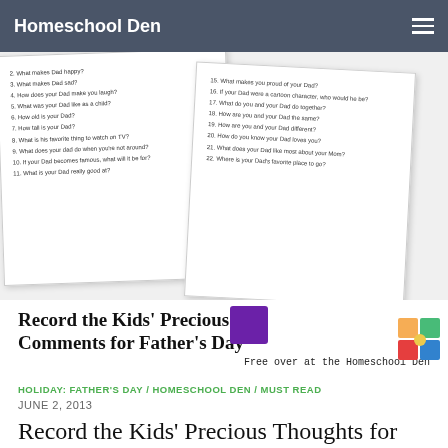Homeschool Den
[Figure (illustration): Two overlapping Father's Day worksheet printables with questions for kids about their Dad, with a purple sticker and colorful block sticker. Below the worksheets is a caption reading 'Record the Kids' Precious Comments for Father's Day' and 'Free over at the Homeschool Den'.]
HOLIDAY: FATHER'S DAY / HOMESCHOOL DEN / MUST READ
JUNE 2, 2013
Record the Kids' Precious Thoughts for Father's Day